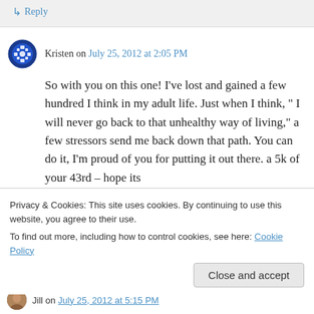↳ Reply
Kristen on July 25, 2012 at 2:05 PM
So with you on this one! I've lost and gained a few hundred I think in my adult life. Just when I think, " I will never go back to that unhealthy way of living," a few stressors send me back down that path. You can do it, I'm proud of you for putting it out there. a 5k of your 43rd – hope its
Privacy & Cookies: This site uses cookies. By continuing to use this website, you agree to their use.
To find out more, including how to control cookies, see here: Cookie Policy
Close and accept
Jill on July 25, 2012 at 5:15 PM